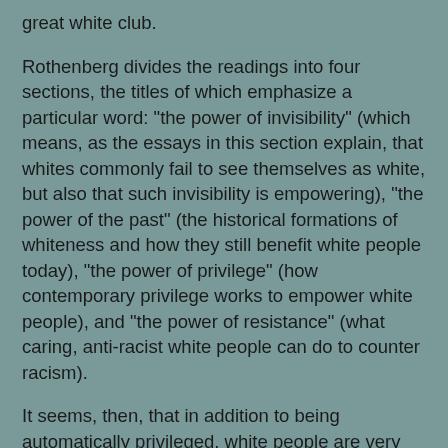great white club.
Rothenberg divides the readings into four sections, the titles of which emphasize a particular word: "the power of invisibility" (which means, as the essays in this section explain, that whites commonly fail to see themselves as white, but also that such invisibility is empowering), "the power of the past" (the historical formations of whiteness and how they still benefit white people today), "the power of privilege" (how contemporary privilege works to empower white people), and "the power of resistance" (what caring, anti-racist white people can do to counter racism).
It seems, then, that in addition to being automatically privileged, white people are very "empowered" by their whiteness. However, this point can be a tough sell to those who are just trying to get by, and who don't see how they're hurting anyone. Learning about what whiteness lends to oneself is a valuable education, but it would probably be easier to swallow if accompanied by recognition and explanation of the downsides, for whites themselves, of being classified as white. And that would mean much more